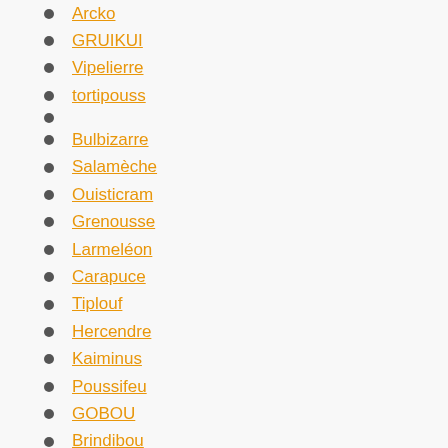Arcko
GRUIKUI
Vipelierre
tortipouss
Bulbizarre
Salamèche
Ouisticram
Grenousse
Larmeléon
Carapuce
Tiplouf
Hercendre
Kaiminus
Poussifeu
GOBOU
Brindibou
OUISTEMPO